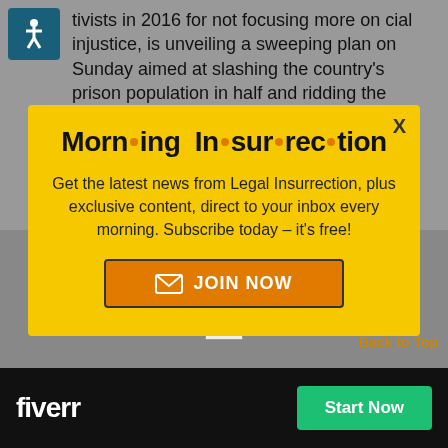tivists in 2016 for not focusing more on cial injustice, is unveiling a sweeping plan on Sunday aimed at slashing the country's prison population in half and ridding the criminal
[Figure (other): Modal popup newsletter signup for 'Morning Insurrection' with yellow background, close button X, title text, description, and JOIN NOW button]
Morn ing In sur rec tion
Get the latest news from Legal Insurrection, plus exclusive content, direct to your inbox every morning. Subscribe today – it's free!
[Figure (other): JOIN NOW orange button with envelope icon]
Back to Top
[Figure (logo): Fiverr logo and Start Now button in black ad bar at bottom]